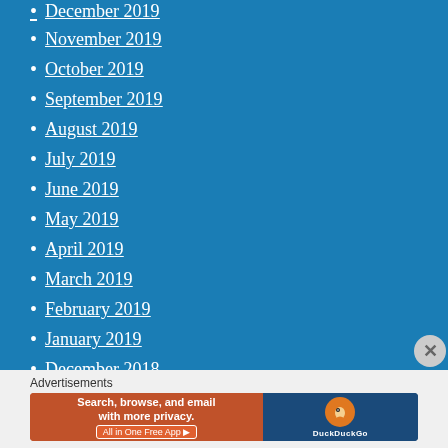December 2019
November 2019
October 2019
September 2019
August 2019
July 2019
June 2019
May 2019
April 2019
March 2019
February 2019
January 2019
December 2018
November 2018
Advertisements
[Figure (other): DuckDuckGo advertisement banner: Search, browse, and email with more privacy. All in One Free App. Shows DuckDuckGo logo with orange background on left and dark blue on right.]